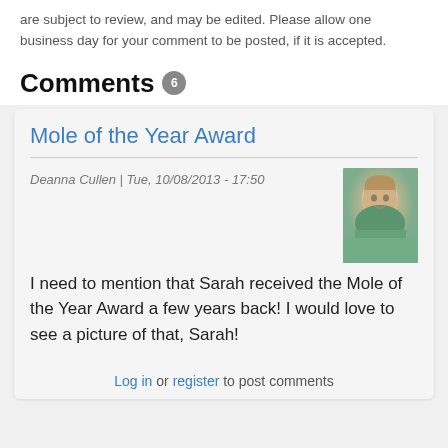are subject to review, and may be edited. Please allow one business day for your comment to be posted, if it is accepted.
Comments 6
Mole of the Year Award
Deanna Cullen | Tue, 10/08/2013 - 17:50
[Figure (photo): Profile photo of a woman with blonde hair wearing a green top]
I need to mention that Sarah received the Mole of the Year Award a few years back!  I would love to see a picture of that, Sarah!
Log in or register to post comments